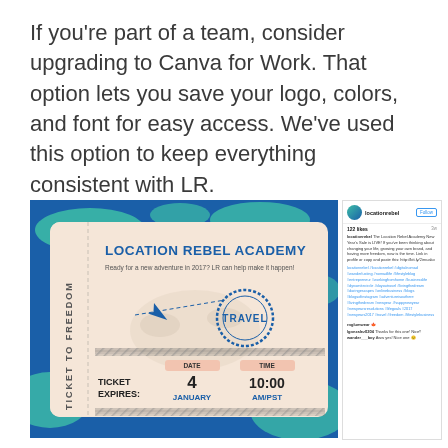If you're part of a team, consider upgrading to Canva for Work. That option lets you save your logo, colors, and font for easy access. We've used this option to keep everything consistent with LR.
[Figure (screenshot): Screenshot showing a Location Rebel Academy boarding pass style ticket design in Canva (left) and an Instagram post panel (right). The ticket reads 'LOCATION REBEL ACADEMY - Ready for a new adventure in 2017? LR can help make it happen! TICKET EXPIRES: DATE 4 JANUARY / TIME 10:00 AM/PST TRAVEL'. The Instagram panel shows the locationrebel account with 122 likes and a caption about New Year's Sale.]